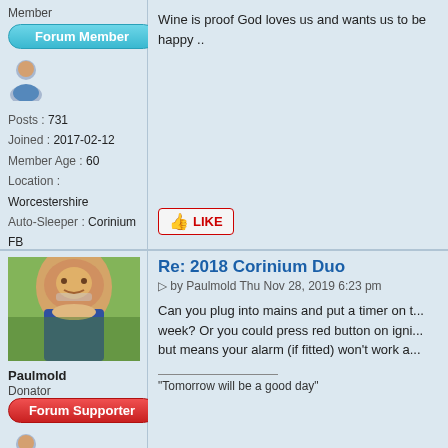Member
[Figure (illustration): Forum Member badge - teal rounded button]
[Figure (illustration): Generic user avatar icon]
Posts : 731
Joined : 2017-02-12
Member Age : 60
Location : Worcestershire
Auto-Sleeper : Corinium FB
Vehicle Year : 2017
Wine is proof God loves us and wants us to be happy ..
[Figure (illustration): LIKE button with thumbs up icon]
[Figure (photo): Profile photo of Paulmold - middle-aged man with grey beard outdoors]
Paulmold
Donator
[Figure (illustration): Forum Supporter badge - red rounded button]
[Figure (illustration): Generic user avatar icon]
Re: 2018 Corinium Duo
by Paulmold Thu Nov 28, 2019 6:23 pm
Can you plug into mains and put a timer on t... week? Or you could press red button on igni... but means your alarm (if fitted) won't work a...
"Tomorrow will be a good day"